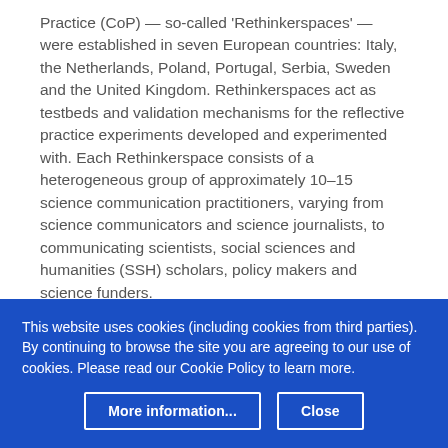Practice (CoP) — so-called 'Rethinkerspaces' — were established in seven European countries: Italy, the Netherlands, Poland, Portugal, Serbia, Sweden and the United Kingdom. Rethinkerspaces act as testbeds and validation mechanisms for the reflective practice experiments developed and experimented with. Each Rethinkerspace consists of a heterogeneous group of approximately 10–15 science communication practitioners, varying from science communicators and science journalists, to communicating scientists, social sciences and humanities (SSH) scholars, policy makers and science funders.
Participant recruitment
This website uses cookies (including cookies from third parties). By continuing to browse the site you are agreeing to our use of cookies. Please read our Cookie Policy to learn more.